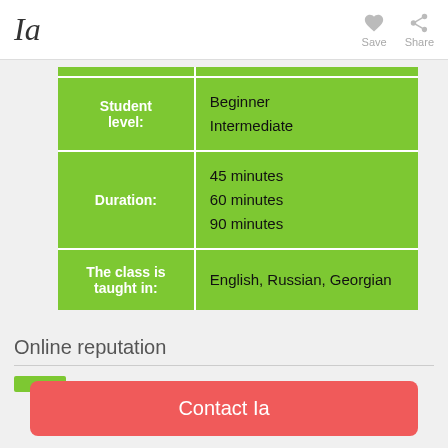Ia
|  |  |
| --- | --- |
| Student level: | Beginner
Intermediate |
| Duration: | 45 minutes
60 minutes
90 minutes |
| The class is taught in: | English, Russian, Georgian |
Online reputation
Contact Ia